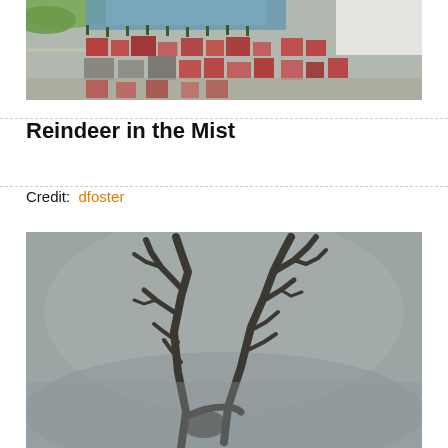[Figure (photo): Aerial photograph of a European town with red and coloured rooftops, trees, and a body of water visible in the upper portion]
Reindeer in the Mist
Credit:  dfoster
[Figure (photo): Close-up photograph of reindeer antlers in misty/foggy grey conditions, dark silhouette of antlers against grey background]